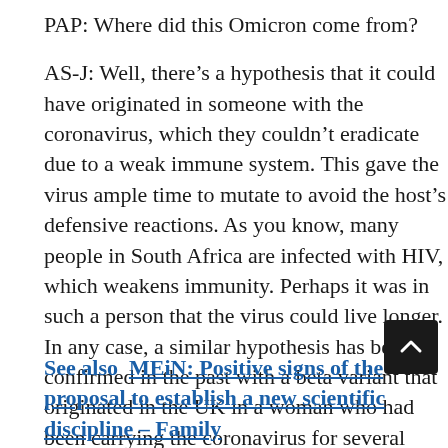PAP: Where did this Omicron come from?
AS-J: Well, there’s a hypothesis that it could have originated in someone with the coronavirus, which they couldn’t eradicate due to a weak immune system. This gave the virus ample time to mutate to avoid the host’s defensive reactions. As you know, many people in South Africa are infected with HIV, which weakens immunity. Perhaps it was in such a person that the virus could live longer. In any case, a similar hypothesis has been confirmed in the past with a beta variant that originated in the UK in a woman who had been carrying the coronavirus for several months. This is what gave the virus time to change.
See also  MEiN: Positive signs of the proposal to establish a new scientific discipline – Family